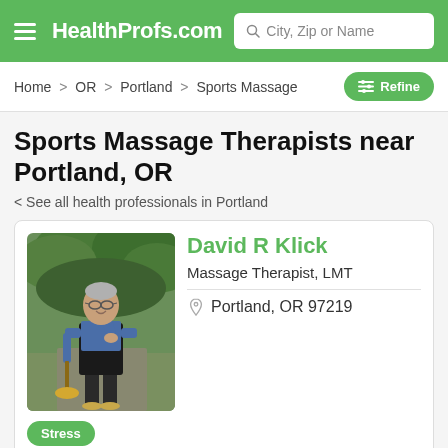HealthProfs.com | City, Zip or Name
Home > OR > Portland > Sports Massage
Sports Massage Therapists near Portland, OR
< See all health professionals in Portland
[Figure (photo): Profile photo of David R Klick, a man in a blue shirt and black apron standing outdoors in a garden holding a broom]
David R Klick
Massage Therapist, LMT
Portland, OR 97219
Stress
Specialties: Licensed Massage Therapist with 24 years